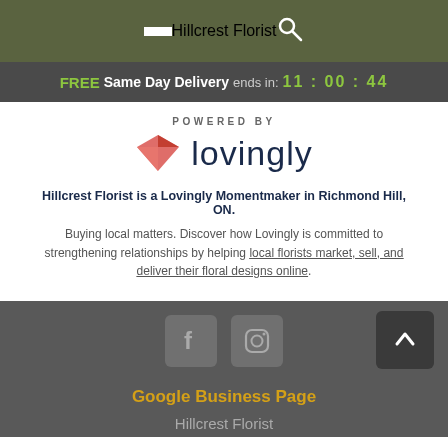Hillcrest Florist
FREE Same Day Delivery ends in: 11 : 00 : 44
[Figure (logo): Lovingly logo with heart icon and wordmark, preceded by 'POWERED BY' text]
Hillcrest Florist is a Lovingly Momentmaker in Richmond Hill, ON.
Buying local matters. Discover how Lovingly is committed to strengthening relationships by helping local florists market, sell, and deliver their floral designs online.
[Figure (illustration): Facebook and Instagram social media icon buttons in grey boxes, with a dark back-to-top arrow button on the right]
Google Business Page
Hillcrest Florist